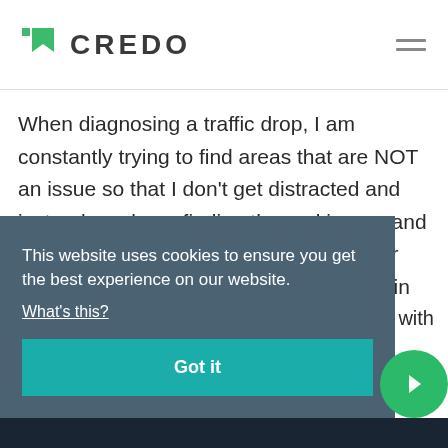CREDO
When diagnosing a traffic drop, I am constantly trying to find areas that are NOT an issue so that I don't get distracted and instead can keep finding the real issues and fix those instead of wasting time on other areas. I'll put those Warnings or Notices in the backlog to fix
This website uses cookies to ensure you get the best experience on our website.
What's this?
Got it
with